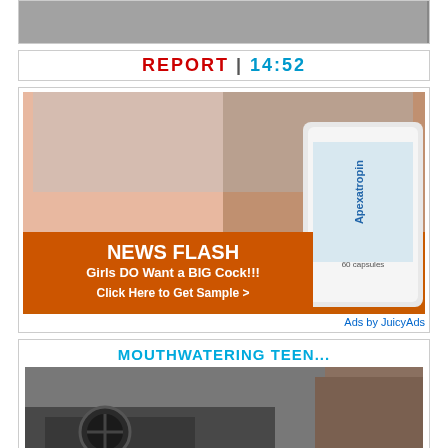[Figure (photo): Partial image at top of page, cut off]
REPORT | 14:52
[Figure (photo): Advertisement image: NEWS FLASH Girls DO Want a BIG Cock!!! Click Here to Get Sample > with product bottle Apexatropin 60 capsules]
Ads by JuicyAds
MOUTHWATERING TEEN...
[Figure (photo): Interior of a car with person visible]